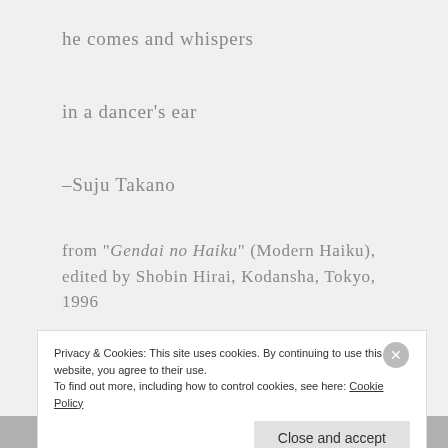he comes and whispers
in a dancer's ear
–Suju Takano
from "Gendai no Haiku" (Modern Haiku), edited by Shobin Hirai, Kodansha, Tokyo, 1996
— posted by Fay Aoyagi on Blue Willow Haiku World June 9, 2010
Privacy & Cookies: This site uses cookies. By continuing to use this website, you agree to their use.
To find out more, including how to control cookies, see here: Cookie Policy
Close and accept